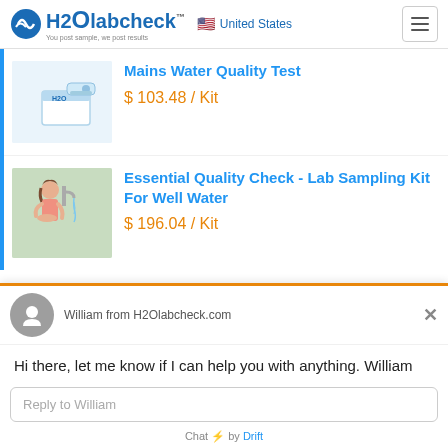H2Olabcheck — United States
[Figure (screenshot): Product listing: Mains Water Quality Test kit image]
Mains Water Quality Test
$ 103.48 / Kit
[Figure (photo): Child drinking from tap, well water test kit product image]
Essential Quality Check - Lab Sampling Kit For Well Water
$ 196.04 / Kit
William from H2Olabcheck.com
Hi there, let me know if I can help you with anything. William
Reply to William
Chat ⚡ by Drift